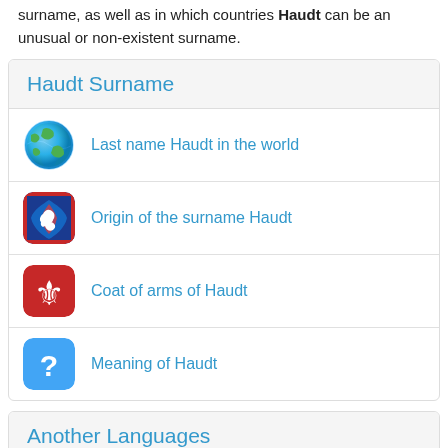surname, as well as in which countries Haudt can be an unusual or non-existent surname.
Haudt Surname
Last name Haudt in the world
Origin of the surname Haudt
Coat of arms of Haudt
Meaning of Haudt
Another Languages
Apellido Haudt